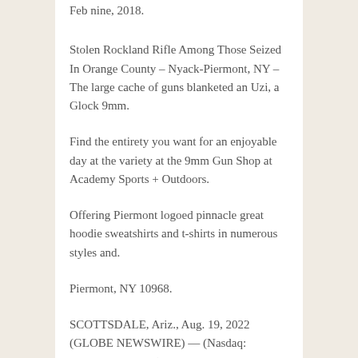Feb nine, 2018.
Stolen Rockland Rifle Among Those Seized In Orange County – Nyack-Piermont, NY – The large cache of guns blanketed an Uzi, a Glock 9mm.
Find the entirety you want for an enjoyable day at the variety at the 9mm Gun Shop at Academy Sports + Outdoors.
Offering Piermont logoed pinnacle great hoodie sweatshirts and t-shirts in numerous styles and.
Piermont, NY 10968.
SCOTTSDALE, Ariz., Aug. 19, 2022 (GLOBE NEWSWIRE) — (Nasdaq: POWW, POWWP)